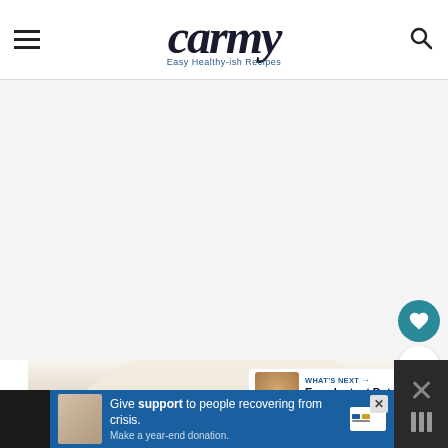carmy — Easy Healthy-ish Recipes
[Figure (screenshot): White/light gray content area placeholder below header]
[Figure (photo): Social sharing sidebar with heart button showing 1.7K likes and share button]
[Figure (photo): Food photo showing a bowl with oranges/tomatoes and herbs on a marble surface]
WHAT'S NEXT → Easy Instant Pot Chicken...
Give support to people recovering from crisis. Make a year-end donation.